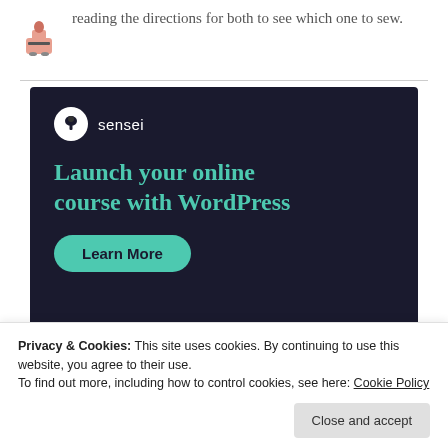reading the directions for both to see which one to sew.
[Figure (illustration): Small icon of a person at a sewing machine]
[Figure (infographic): Sensei advertisement banner with dark background. Shows Sensei logo (tree icon in white circle), headline 'Launch your online course with WordPress', and a teal 'Learn More' button.]
Privacy & Cookies: This site uses cookies. By continuing to use this website, you agree to their use.
To find out more, including how to control cookies, see here: Cookie Policy
Close and accept